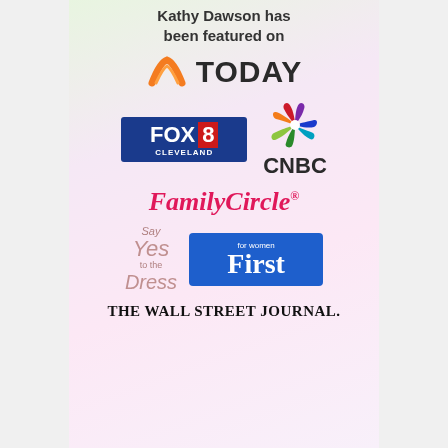Kathy Dawson has been featured on
[Figure (logo): TODAY show logo with orange rainbow arc]
[Figure (logo): FOX 8 Cleveland logo (blue box)]
[Figure (logo): NBC peacock logo and CNBC text]
[Figure (logo): FamilyCircle magazine logo in pink italic]
[Figure (logo): Say Yes to the Dress logo]
[Figure (logo): First for Women magazine logo in blue box]
[Figure (logo): The Wall Street Journal logo]